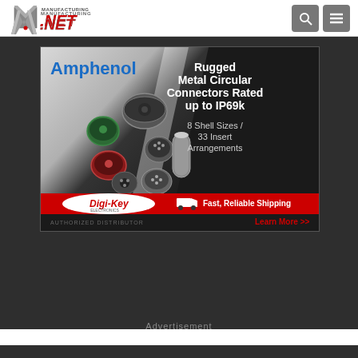[Figure (logo): Manufacturing.net logo - stylized M with 'MANUFACTURING' text and '.NET' in red]
[Figure (screenshot): Amphenol advertisement banner for Rugged Metal Circular Connectors Rated up to IP69k, 8 Shell Sizes / 33 Insert Arrangements, distributed by Digi-Key Electronics with Fast, Reliable Shipping. Learn More >>]
Advertisement